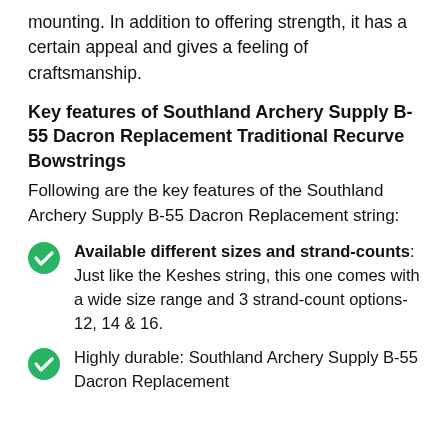mounting. In addition to offering strength, it has a certain appeal and gives a feeling of craftsmanship.
Key features of Southland Archery Supply B-55 Dacron Replacement Traditional Recurve Bowstrings
Following are the key features of the Southland Archery Supply B-55 Dacron Replacement string:
Available different sizes and strand-counts: Just like the Keshes string, this one comes with a wide size range and 3 strand-count options- 12, 14 & 16.
Highly durable: Southland Archery Supply B-55 Dacron Replacement...